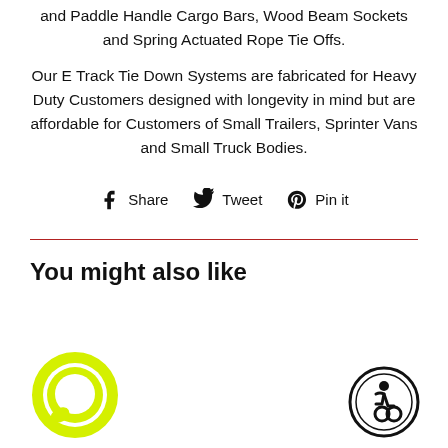and Paddle Handle Cargo Bars, Wood Beam Sockets and Spring Actuated Rope Tie Offs.
Our E Track Tie Down Systems are fabricated for Heavy Duty Customers designed with longevity in mind but are affordable for Customers of Small Trailers, Sprinter Vans and Small Truck Bodies.
Share  Tweet  Pin it
You might also like
[Figure (illustration): Yellow circular chat/message bubble icon]
[Figure (illustration): Black circle with wheelchair accessibility icon]